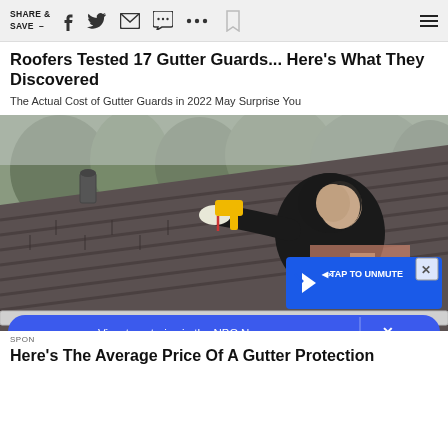SHARE & SAVE —
Roofers Tested 17 Gutter Guards... Here's What They Discovered
The Actual Cost of Gutter Guards in 2022 May Surprise You
[Figure (photo): A man in a black hoodie using a drill on a residential roof edge, installing or inspecting gutter guards. The roof has dark brown shingles. Trees visible in background. A video overlay says TAP TO UNMUTE. An NBC News app banner appears at the bottom.]
SPON
Here's The Average Price Of A Gutter Protection